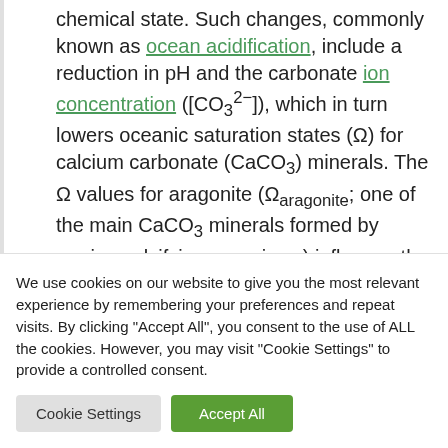chemical state. Such changes, commonly known as ocean acidification, include a reduction in pH and the carbonate ion concentration ([CO₃²⁻]), which in turn lowers oceanic saturation states (Ω) for calcium carbonate (CaCO₃) minerals. The Ω values for aragonite (Ωaragonite; one of the main CaCO₃ minerals formed by marine calcifying organisms) influence the calcification rate and geographic distribution of cold-water
We use cookies on our website to give you the most relevant experience by remembering your preferences and repeat visits. By clicking "Accept All", you consent to the use of ALL the cookies. However, you may visit "Cookie Settings" to provide a controlled consent.